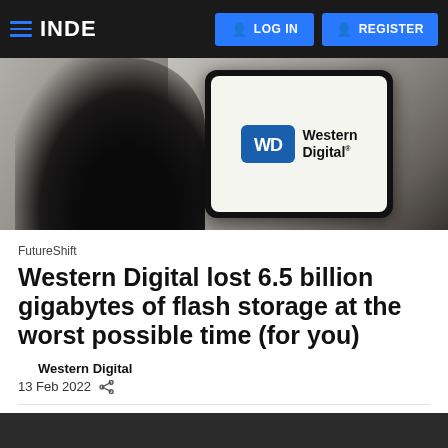INDE | LOG IN | REGISTER
[Figure (photo): Hand holding a smartphone displaying the Western Digital (WD) logo on its screen, with blurred background of papers/money]
FutureShift
Western Digital lost 6.5 billion gigabytes of flash storage at the worst possible time (for you)
Western Digital
13 Feb 2022